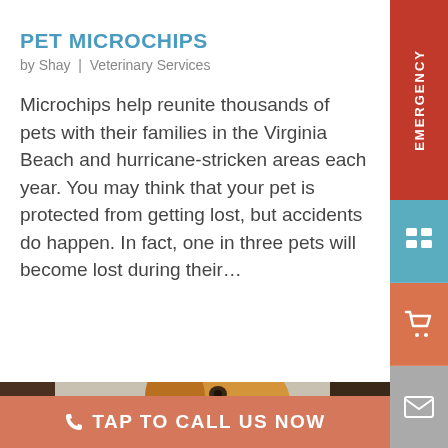PET MICROCHIPS
by Shay | Veterinary Services
Microchips help reunite thousands of pets with their families in the Virginia Beach and hurricane-stricken areas each year. You may think that your pet is protected from getting lost, but accidents do happen. In fact, one in three pets will become lost during their…
[Figure (photo): A golden retriever dog lying down, looking to the side with its tongue out, photographed indoors against a light wall.]
TAP TO CALL US NOW